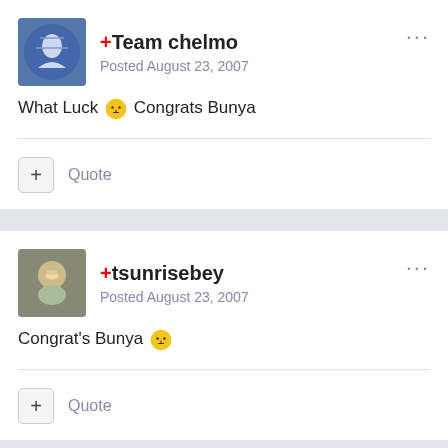+Team chelmo
Posted August 23, 2007
What Luck 😐 Congrats Bunya
Quote
+tsunrisebey
Posted August 23, 2007
Congrat's Bunya 😐
Quote
+Dolfy